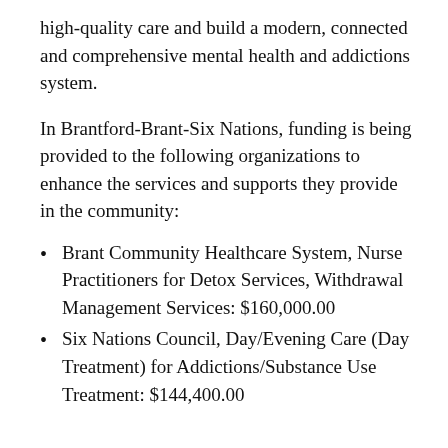high-quality care and build a modern, connected and comprehensive mental health and addictions system.
In Brantford-Brant-Six Nations, funding is being provided to the following organizations to enhance the services and supports they provide in the community:
Brant Community Healthcare System, Nurse Practitioners for Detox Services, Withdrawal Management Services: $160,000.00
Six Nations Council, Day/Evening Care (Day Treatment) for Addictions/Substance Use Treatment: $144,400.00